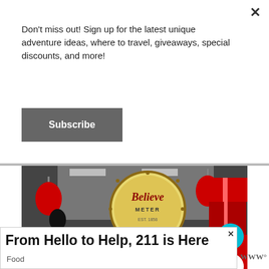Don't miss out! Sign up for the latest unique adventure ideas, where to travel, giveaways, special discounts, and more!
Subscribe
[Figure (photo): Indoor Christmas display with a large Believe Meter prop, a gold ornate clock-like structure with the word 'Believe' in red script and 'METER' below it, red and dark ornaments hanging from ceiling, red gift boxes stacked on right, a red star-shaped gate structure in foreground, a child visible in lower right, and a Santa Mail display on left side.]
WHAT'S NEXT → Christmas Light Displa...
From Hello to Help, 211 is Here
Food